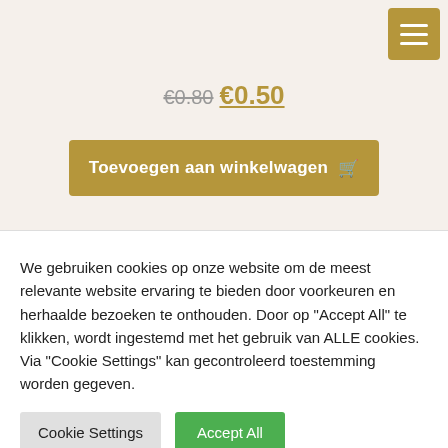€0.80 €0.50
Toevoegen aan winkelwagen
We gebruiken cookies op onze website om de meest relevante website ervaring te bieden door voorkeuren en herhaalde bezoeken te onthouden. Door op "Accept All" te klikken, wordt ingestemd met het gebruik van ALLE cookies. Via "Cookie Settings" kan gecontroleerd toestemming worden gegeven.
Cookie Settings
Accept All